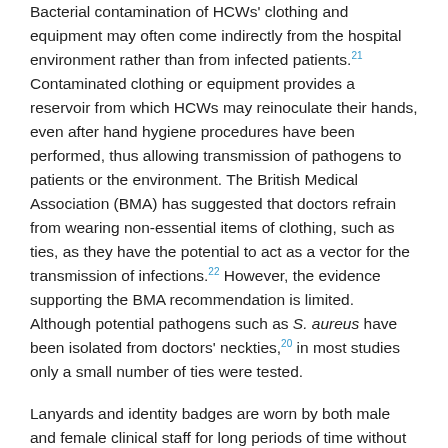Bacterial contamination of HCWs' clothing and equipment may often come indirectly from the hospital environment rather than from infected patients.21 Contaminated clothing or equipment provides a reservoir from which HCWs may reinoculate their hands, even after hand hygiene procedures have been performed, thus allowing transmission of pathogens to patients or the environment. The British Medical Association (BMA) has suggested that doctors refrain from wearing non-essential items of clothing, such as ties, as they have the potential to act as a vector for the transmission of infections.22 However, the evidence supporting the BMA recommendation is limited. Although potential pathogens such as S. aureus have been isolated from doctors' neckties,20 in most studies only a small number of ties were tested.
Lanyards and identity badges are worn by both male and female clinical staff for long periods of time without